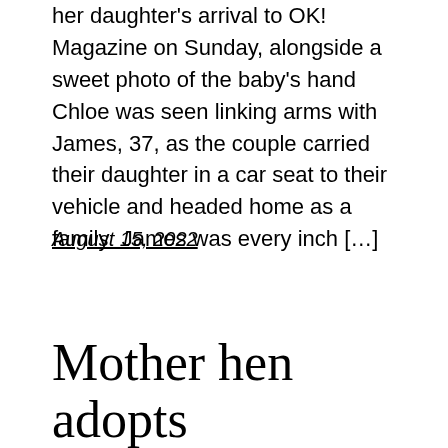her daughter's arrival to OK! Magazine on Sunday, alongside a sweet photo of the baby's hand  Chloe was seen linking arms with James, 37, as the couple carried their daughter in a car seat to their vehicle and headed home as a family  James was every inch […]
August 15, 2022
Mother hen adopts